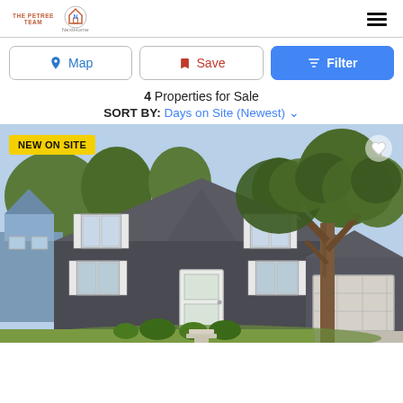THE PETREE TEAM / NextHome logo / hamburger menu
Map | Save | Filter buttons
4 Properties for Sale
SORT BY: Days on Site (Newest)
[Figure (photo): Two-story dark gray colonial-style house with white shutters, white front door, attached garage, large tree in front yard, green lawn, sunny day. Badge: NEW ON SITE. Heart/favorite icon top right.]